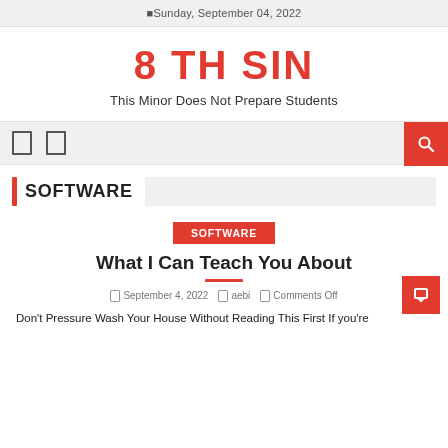Sunday, September 04, 2022
8 TH SIN
This Minor Does Not Prepare Students
SOFTWARE
SOFTWARE
What I Can Teach You About
September 4, 2022   aebi   Comments Off
Don't Pressure Wash Your House Without Reading This First If you're